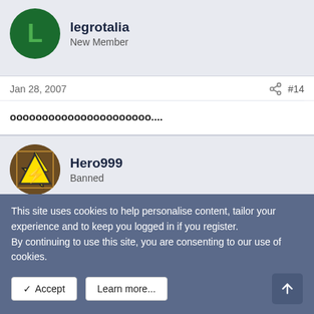legrotalia
New Member
Jan 28, 2007
#14
oooooooooooooooooooooo....
Hero999
Banned
Jan 28, 2007
#15
Baaaaaaaaaaaaaaaaaaaaaaaaaaaaaaaa......
This site uses cookies to help personalise content, tailor your experience and to keep you logged in if you register.
By continuing to use this site, you are consenting to our use of cookies.
✓ Accept
Learn more...